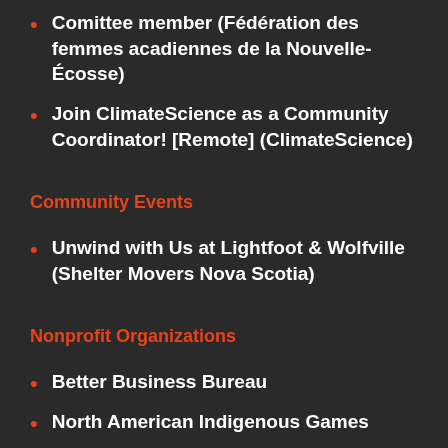Comittee member (Fédération des femmes acadiennes de la Nouvelle-Écosse)
Join ClimateScience as a Community Coordinator! [Remote] (ClimateScience)
Community Events
Unwind with Us at Lightfoot & Wolfville (Shelter Movers Nova Scotia)
Nonprofit Organizations
Better Business Bureau
North American Indigenous Games
Motionball for Special Olympics